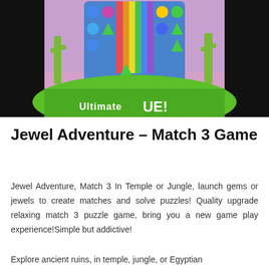[Figure (screenshot): Screenshot of Jewel Adventure Match 3 Game showing a colorful gem puzzle board with a rainbow cascade in the center, set against a desert background with cacti. A green banner at the bottom reads 'Ultimate UE!' against a dark background.]
Jewel Adventure – Match 3 Game
Jewel Adventure, Match 3 In Temple or Jungle, launch gems or jewels to create matches and solve puzzles! Quality upgrade relaxing match 3 puzzle game, bring you a new game play experience!Simple but addictive!
Explore ancient ruins, in temple, jungle, or Egyptian